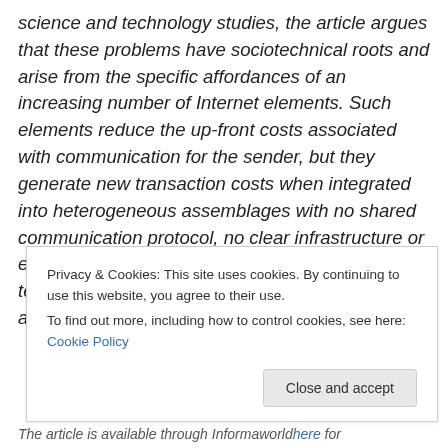science and technology studies, the article argues that these problems have sociotechnical roots and arise from the specific affordances of an increasing number of Internet elements. Such elements reduce the up-front costs associated with communication for the sender, but they generate new transaction costs when integrated into heterogeneous assemblages with no shared communication protocol, no clear infrastructure or exostructure, and no significant means of tempering the tendency towards ever greater amounts of communication
Privacy & Cookies: This site uses cookies. By continuing to use this website, you agree to their use. To find out more, including how to control cookies, see here: Cookie Policy
Close and accept
The article is available through Informaworld here for